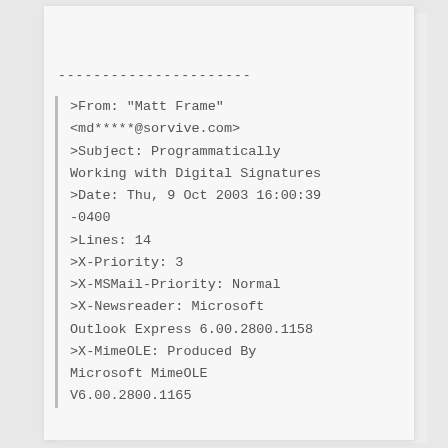----------------------
>From: "Matt Frame" <md*****@sorvive.com>
>Subject: Programmatically Working with Digital Signatures
>Date: Thu, 9 Oct 2003 16:00:39 -0400
>Lines: 14
>X-Priority: 3
>X-MSMail-Priority: Normal
>X-Newsreader: Microsoft Outlook Express 6.00.2800.1158
>X-MimeOLE: Produced By Microsoft MimeOLE V6.00.2800.1165